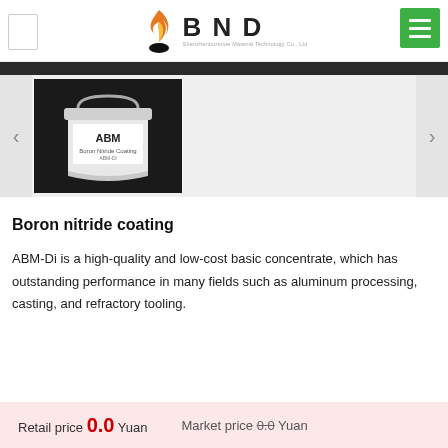BND — Shenzhenborsride Material Technology Co., Ltd
[Figure (photo): White plastic bucket labeled ABM-Di boron nitride coating product, on a dark background]
Boron nitride coating
ABM-Di is a high-quality and low-cost basic concentrate, which has outstanding performance in many fields such as aluminum processing, casting, and refractory tooling.
Retail price 0.0 Yuan   Market price 0.0 Yuan